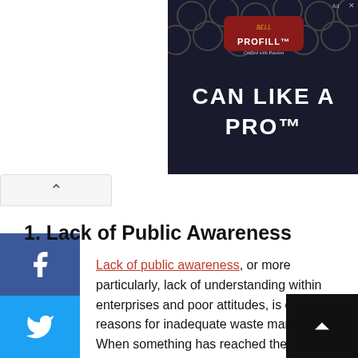[Figure (screenshot): Advertisement banner with 'PROFILL – CAN LIKE A PRO' text on dark background with kegs]
1. Lack of Public Awareness
Lack of public awareness, or more particularly, lack of understanding within enterprises and poor attitudes, is of the first reasons for inadequate waste management. When something has reached the end of its useful life, it is frequently disposed of carelessly.

Businesses produce a quarter of all of England's waste, according to the Waste Resources Action Programme (WRAP). Professionals in any company must understand that just because something has outlived its usefulness